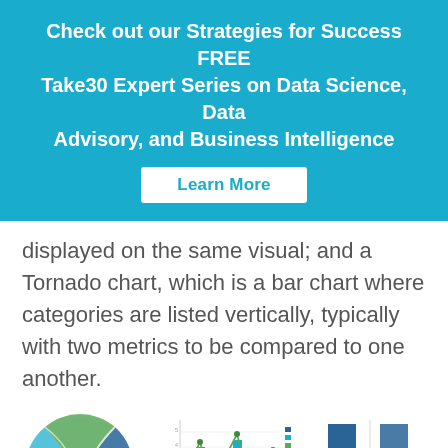Check out our Strategies for Success FREE Take30 Expert Series on Data Science, Data Advisory, and Business Intelligence
Learn More
displayed on the same visual; and a Tornado chart, which is a bar chart where categories are listed vertically, typically with two metrics to be compared to one another.
[Figure (other): Fig 6a: Chord Chart - circular chord diagram with teal, blue and green segments]
Fig 6a. Chord Chart
[Figure (other): Fig 6b: Combination Chart - bar and line chart with teal, blue and green bars and line overlays]
Fig 6b. Combination Chart
[Figure (other): Fig 6c: Tornado Chart - horizontal stacked bar chart with blue, teal and green segments]
Fig 6c. Tornado Chart